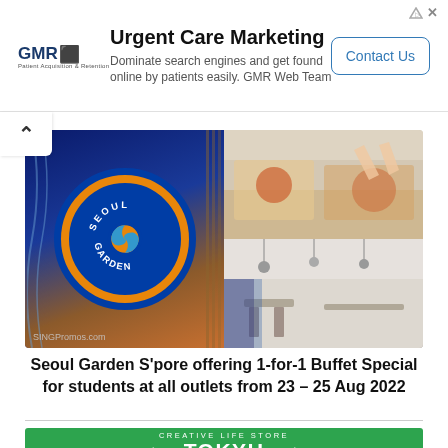[Figure (other): GMR Web Team advertisement banner with logo, headline 'Urgent Care Marketing', body text, and Contact Us button]
[Figure (photo): Seoul Garden restaurant composite photo showing the Seoul Garden circular blue and orange logo sign on left, food display counter in center, and modern restaurant interior on right. SINGPromos.com watermark.]
Seoul Garden S'pore offering 1-for-1 Buffet Special for students at all outlets from 23 – 25 Aug 2022
[Figure (logo): Tokyu Hands Creative Life Store green banner logo with white stylized wings and bold white text]